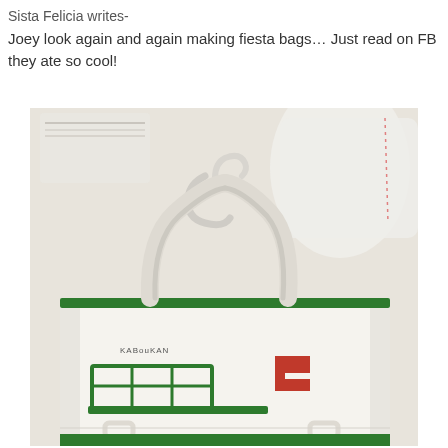Sista Felicia writes-
Joey look again and again making fiesta bags… Just read on FB they ate so cool!
[Figure (photo): A white canvas tote bag with green trim and green/red graphic of a streetcar (cable car) design, hanging on a white hook/hanger, with other white bags visible in the background.]